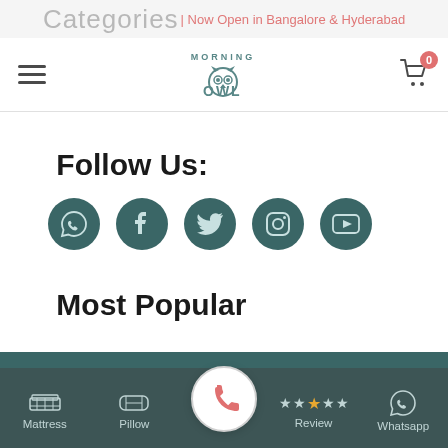Categories | Now Open in Bangalore & Hyderabad
[Figure (logo): Morning Owl brand logo with owl icon and cart button with badge showing 0]
Follow Us:
[Figure (infographic): Five social media icons in teal circles: WhatsApp, Facebook, Twitter, Instagram, YouTube]
Most Popular
[Figure (screenshot): Partial product image in teal/dark green color at bottom]
Mattress | Pillow | [Call Button] | Review | Whatsapp